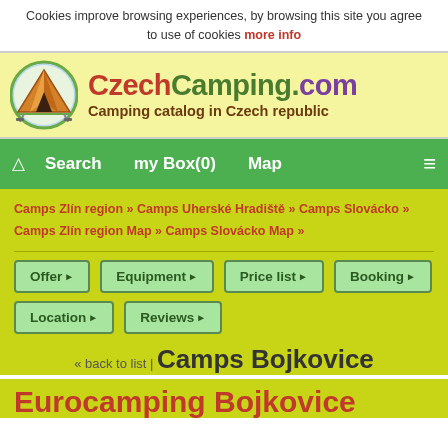Cookies improve browsing experiences, by browsing this site you agree to use of cookies more info
[Figure (logo): CzechCamping.com logo with tent icon and text 'Camping catalog in Czech republic']
Search  my Box(0)  Map
Camps Zlín region » Camps Uherské Hradiště » Camps Slovácko » Camps Zlín region Map » Camps Slovácko Map »
Offer
Equipment
Price list
Booking
Location
Reviews
« back to list | Camps Bojkovice
Eurocamping Bojkovice